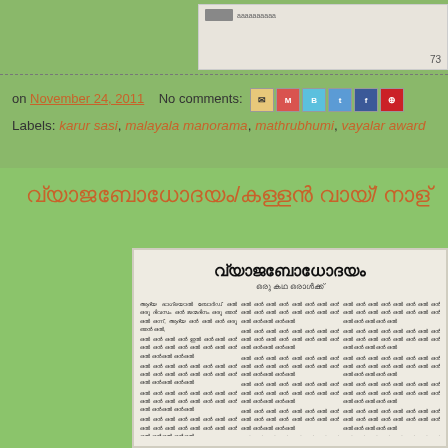[Figure (screenshot): Top portion of a scanned newspaper/magazine page snippet showing page number 73]
on November 24, 2011   No comments:
Labels: karur sasi, malayala manorama, mathrubhumi, vayalar award
വ്യാജബോധോദയം/കള്ളൻ വായ്/ നാള്
[Figure (photo): Scanned Malayalam article titled വ്യാജബോധോദയം with dense Malayalam text in three columns]